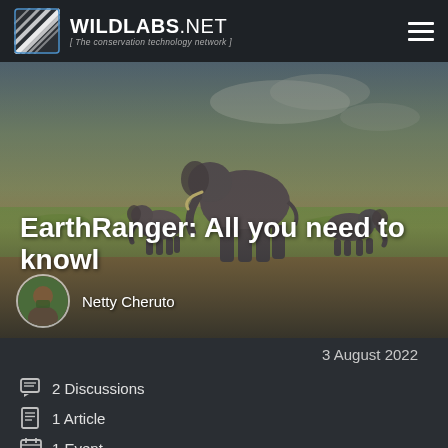WILDLABS.NET [ The conservation technology network ]
[Figure (photo): Hero image of elephants walking across an African savanna landscape with grass and soil terrain. Includes an adult elephant and two younger elephants. Overlaid with bold white title text and author information.]
EarthRanger: All you need to knowl
Netty Cheruto
3 August 2022
2 Discussions
1 Article
1 Event
1 Funding